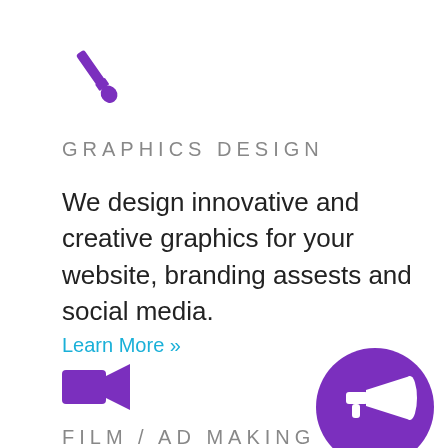[Figure (illustration): Purple paint brush icon]
GRAPHICS DESIGN
We design innovative and creative graphics for your website, branding assests and social media.
Learn More »
[Figure (illustration): Purple video camera icon]
FILM / AD MAKING
We make corporate films for branding and marketing along with script writing
[Figure (illustration): Purple circle with megaphone icon]